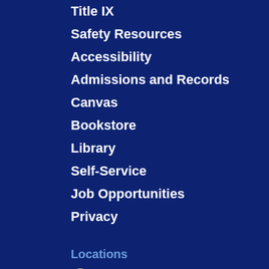Title IX
Safety Resources
Accessibility
Admissions and Records
Canvas
Bookstore
Library
Self-Service
Job Opportunities
Privacy
Locations
Aptos Campus
6500 Soquel Drive